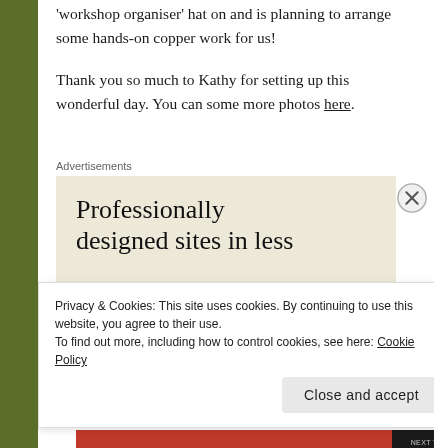'workshop organiser' hat on and is planning to arrange some hands-on copper work for us!
Thank you so much to Kathy for setting up this wonderful day. You can some more photos here.
Advertisements
[Figure (screenshot): Advertisement box with beige background showing text 'Professionally designed sites in less']
Privacy & Cookies: This site uses cookies. By continuing to use this website, you agree to their use. To find out more, including how to control cookies, see here: Cookie Policy
Close and accept